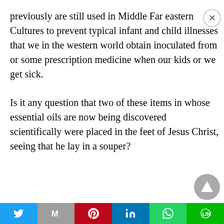previously are still used in Middle Far eastern Cultures to prevent typical infant and child illnesses that we in the western world obtain inoculated from or some prescription medicine when our kids or we get sick.
Is it any question that two of these items in whose essential oils are now being discovered scientifically were placed in the feet of Jesus Christ, seeing that he lay in a souper?
[Figure (other): Social share bar with Twitter, Gmail, Pinterest, LinkedIn, WhatsApp, and LINE buttons]